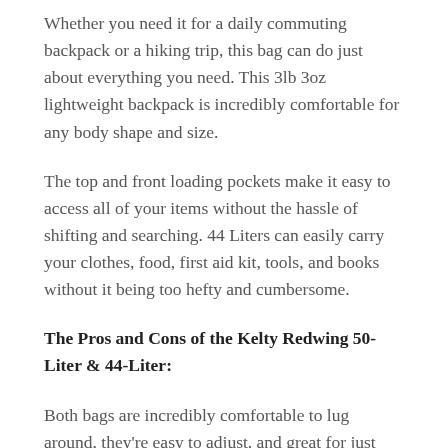Whether you need it for a daily commuting backpack or a hiking trip, this bag can do just about everything you need. This 3lb 3oz lightweight backpack is incredibly comfortable for any body shape and size.
The top and front loading pockets make it easy to access all of your items without the hassle of shifting and searching. 44 Liters can easily carry your clothes, food, first aid kit, tools, and books without it being too hefty and cumbersome.
The Pros and Cons of the Kelty Redwing 50-Liter & 44-Liter:
Both bags are incredibly comfortable to lug around, they're easy to adjust, and great for just about any trip. They're both made of high quality polyester to ensure a long